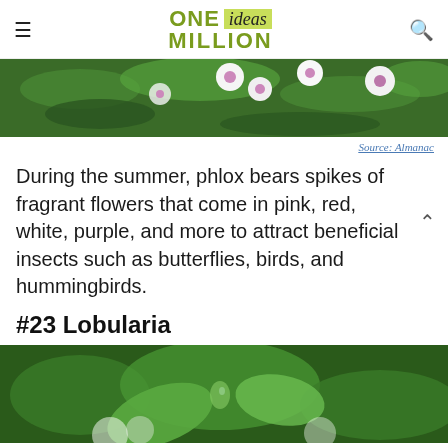ONE ideas MILLION
[Figure (photo): Close-up photo of phlox flowers with white and pink petals and green leaves]
Source: Almanac
During the summer, phlox bears spikes of fragrant flowers that come in pink, red, white, purple, and more to attract beneficial insects such as butterflies, birds, and hummingbirds.
#23 Lobularia
[Figure (photo): Close-up photo of Lobularia plant with green leaves and white blossoms, blurred background]